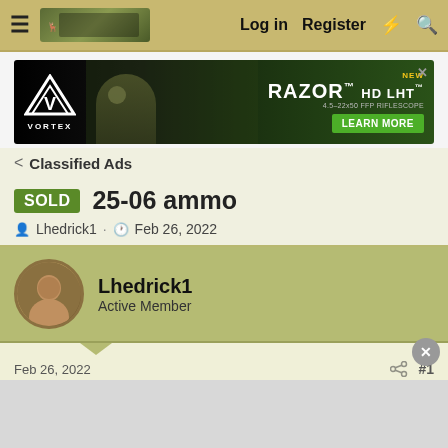Log in  Register
[Figure (photo): Vortex Optics advertisement banner showing RAZOR HD LHT rifle scope with hunter in background and LEARN MORE button]
< Classified Ads
SOLD  25-06 ammo
Lhedrick1 · Feb 26, 2022
Lhedrick1
Active Member
Feb 26, 2022  #1
Anyone have any 120 gr Core Lokts, 117 SSTs, 115 Partition etc. Factory loaded ammo they would be willing to part with?